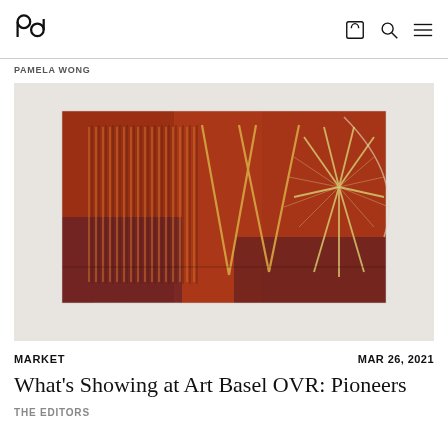ap [logo] [cart icon] [search icon] [menu icon]
PAMELA WONG
[Figure (photo): Abstract artwork print on white mat board showing geometric constructivist composition with red/brown tones, vertical lines, and triangular forms against a dark oxidized background]
MARKET    MAR 26, 2021
What's Showing at Art Basel OVR: Pioneers
THE EDITORS